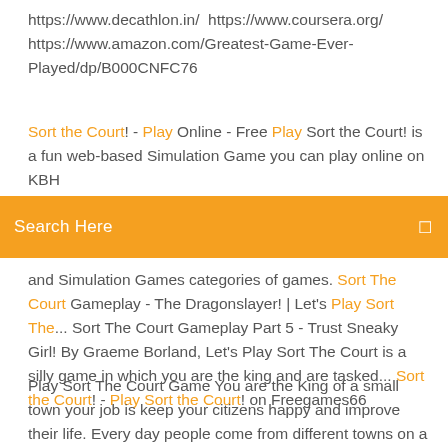https://www.decathlon.in/ https://www.coursera.org/ https://www.amazon.com/Greatest-Game-Ever-Played/dp/B000CNFC76
Sort the Court! - Play Online - Free Play Sort the Court! is a fun web-based Simulation Game you can play online on KBH
[Figure (screenshot): Orange search bar with text 'Search Here' and a search icon on the right]
and Simulation Games categories of games. Sort The Court Gameplay - The Dragonslayer! | Let's Play Sort The... Sort The Court Gameplay Part 5 - Trust Sneaky Girl! By Graeme Borland, Let's Play Sort The Court is a silly game in which you are the king and are tasked... Sort the Court! - Play Sort the Court! on Freegames66
Play Sort The Court Game You are the King of a small town your job is keep your citizens happy and improve their life. Every day people come from different towns on a daily basis and ask for